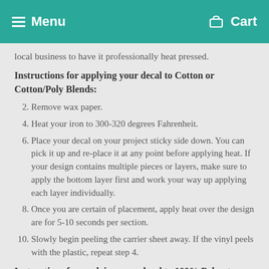Menu   Cart
local business to have it professionally heat pressed.
Instructions for applying your decal to Cotton or Cotton/Poly Blends:
1. Remove wax paper.
2. Heat your iron to 300-320 degrees Fahrenheit.
3. Place your decal on your project sticky side down. You can pick it up and re-place it at any point before applying heat. If your design contains multiple pieces or layers, make sure to apply the bottom layer first and work your way up applying each layer individually.
4. Once you are certain of placement, apply heat over the design are for 5-10 seconds per section.
5. Slowly begin peeling the carrier sheet away. If the vinyl peels with the plastic, repeat step 4.
Instructions for applying your decal to 100% Polyester: